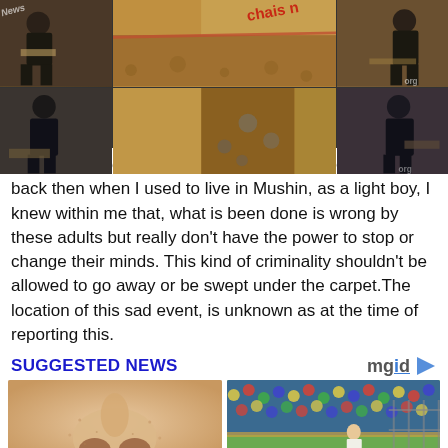[Figure (photo): Collage of 6 images showing people digging in dirt/construction scenes, with watermarks visible]
I remember how some houses taps light from each other back then when I used to live in Mushin, as a light boy, I knew within me that, what is been done is wrong by these adults but really don't have the power to stop or change their minds. This kind of criminality shouldn't be allowed to go away or be swept under the carpet.The location of this sad event, is unknown as at the time of reporting this.
SUGGESTED NEWS
[Figure (photo): Close-up photo of a person's nose and skin]
[Figure (photo): Photo of a person with a crocodile/reptile in front of a crowd]